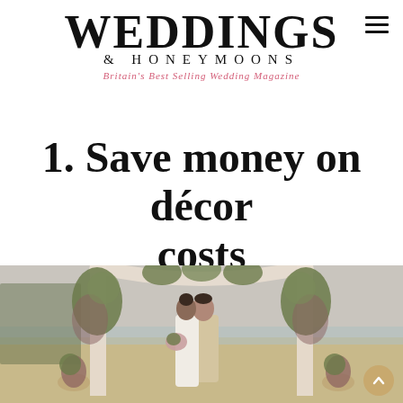WEDDINGS & HONEYMOONS
Britain's Best Selling Wedding Magazine
1. Save money on décor costs
[Figure (photo): A couple kissing under a floral arch decorated with flowers and greenery on a beach at sunset, with palm trees in the background and floral arrangements on either side.]